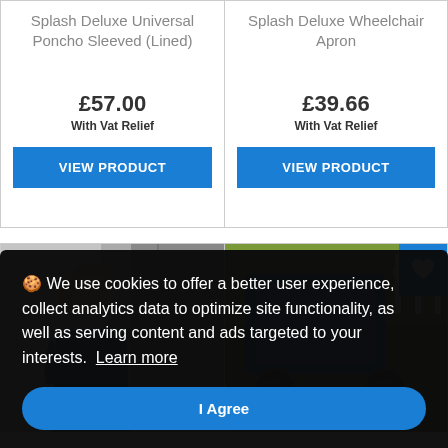Splash Deluxe Universal Poncho Sleeved (Lined)
£57.00
With Vat Relief
VIEW PRODUCT
Splash Deluxe Wheelchair Apron
£39.66
With Vat Relief
VIEW PRODUCT
[Figure (photo): Person wearing a blue poncho outdoors against a brick wall]
[Figure (photo): Wheelchair with blue apron on grass]
🍪 We use cookies to offer a better user experience, collect analytics data to optimize site functionality, as well as serving content and ads targeted to your interests.  Learn more
I Agree